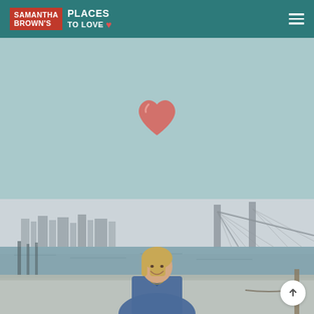Samantha Brown's Places to Love
[Figure (illustration): Light teal/blue-green background hero section with a pink/red heart icon centered in the middle]
[Figure (photo): Photo of Samantha Brown, a blonde woman smiling and wearing a denim jacket, standing in front of a waterfront with a bridge and city skyline in the background]